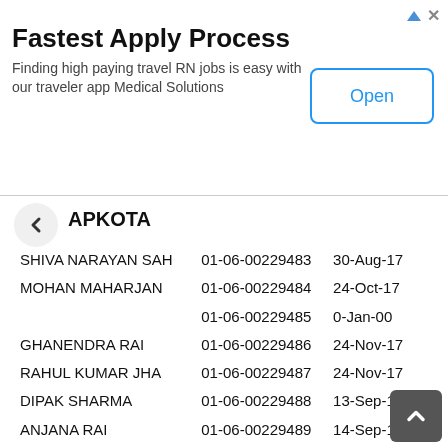[Figure (screenshot): Advertisement banner: 'Fastest Apply Process — Finding high paying travel RN jobs is easy with our traveler app Medical Solutions' with an 'Open' button]
APKOTA
| SHIVA NARAYAN SAH | 01-06-00229483 | 30-Aug-17 |
| MOHAN MAHARJAN | 01-06-00229484 | 24-Oct-17 |
|  | 01-06-00229485 | 0-Jan-00 |
| GHANENDRA RAI | 01-06-00229486 | 24-Nov-17 |
| RAHUL KUMAR JHA | 01-06-00229487 | 24-Nov-17 |
| DIPAK SHARMA | 01-06-00229488 | 13-Sep-17 |
| ANJANA RAI | 01-06-00229489 | 14-Sep-17 |
| LOK BAHADUR TAMANG | 01-06-00229490 | 24-Nov-17 |
| ANIL KHADKA | 01-06-00229491 | 24-Nov-17 |
| SUJAN BHATTARAI | 01-06-00229492 | 24-Nov-17 |
| GUNA BAHADUR PULAMI | 01-06-00229493 | 24-Sep-17 |
| BAHADUR TAMANG | 01-06-00229494 | 24-Sep-17 |
| KHIMA KUMARI SUBEDI | 01-06-00229495 | 24-Nov-17 |
| SABIN MAHARJAN | 01-06-00229496 | 24-Nov-17 |